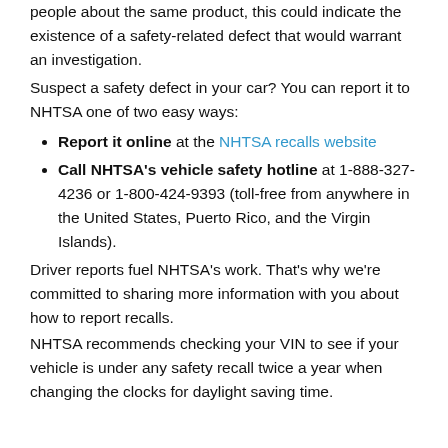people about the same product, this could indicate the existence of a safety-related defect that would warrant an investigation.
Suspect a safety defect in your car? You can report it to NHTSA one of two easy ways:
Report it online at the NHTSA recalls website
Call NHTSA's vehicle safety hotline at 1-888-327-4236 or 1-800-424-9393 (toll-free from anywhere in the United States, Puerto Rico, and the Virgin Islands).
Driver reports fuel NHTSA's work. That's why we're committed to sharing more information with you about how to report recalls.
NHTSA recommends checking your VIN to see if your vehicle is under any safety recall twice a year when changing the clocks for daylight saving time.